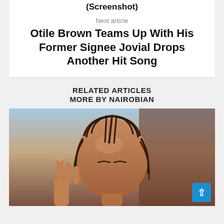(Screenshot)
Next article
Otile Brown Teams Up With His Former Signee Jovial Drops Another Hit Song
RELATED ARTICLES
MORE BY NAIROBIAN
[Figure (photo): Close-up photo of a person with braided hair, eyes closed, hand raised near face with fingers pointing up, against a light blue and brown background]